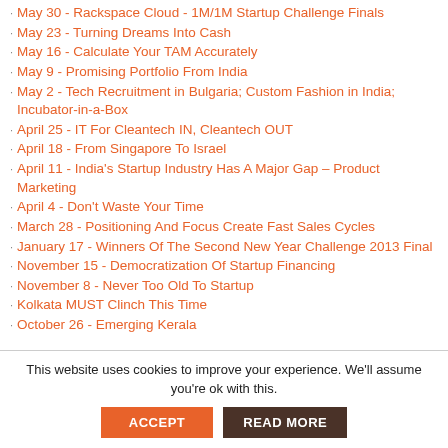May 30 - Rackspace Cloud - 1M/1M Startup Challenge Finals
May 23 - Turning Dreams Into Cash
May 16 - Calculate Your TAM Accurately
May 9 - Promising Portfolio From India
May 2 - Tech Recruitment in Bulgaria; Custom Fashion in India; Incubator-in-a-Box
April 25 - IT For Cleantech IN, Cleantech OUT
April 18 - From Singapore To Israel
April 11 - India's Startup Industry Has A Major Gap – Product Marketing
April 4 - Don't Waste Your Time
March 28 - Positioning And Focus Create Fast Sales Cycles
January 17 - Winners Of The Second New Year Challenge 2013 Final
November 15 - Democratization Of Startup Financing
November 8 - Never Too Old To Startup
Kolkata MUST Clinch This Time
October 26 - Emerging Kerala
This website uses cookies to improve your experience. We'll assume you're ok with this.
ACCEPT
READ MORE